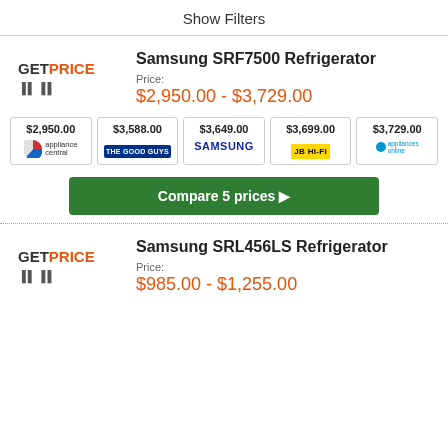Show Filters
[Figure (logo): GetPrice logo]
Samsung SRF7500 Refrigerator
Price: $2,950.00 - $3,729.00
| Store | Price |
| --- | --- |
| appliance central | $2,950.00 |
| THE GOOD GUYS | $3,588.00 |
| SAMSUNG | $3,649.00 |
| JB HI-FI | $3,699.00 |
| appliances online | $3,729.00 |
Compare 5 prices ▶
[Figure (logo): GetPrice logo]
Samsung SRL456LS Refrigerator
Price: $985.00 - $1,255.00